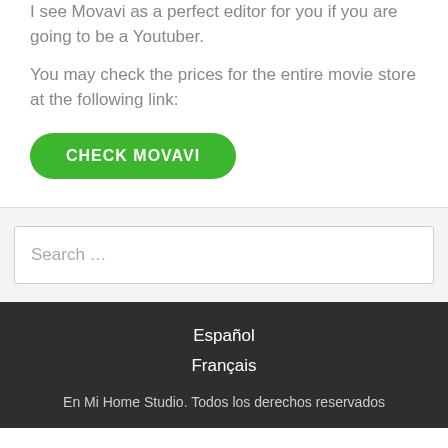I see Movavi as a perfect editor for you if you are going to be a Youtuber.
You may check the prices for the entire movie store at the following link:
CHECK MOVAVI
Search …
Español
Français
En Mi Home Studio. Todos los derechos reservados